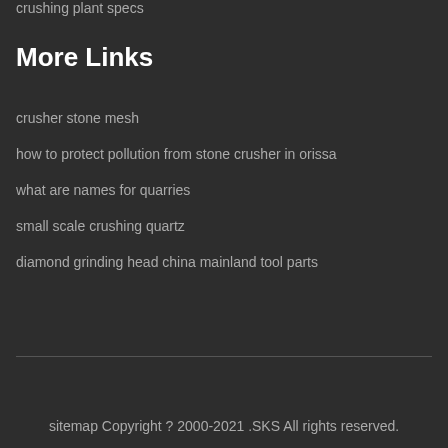crushing plant specs
More Links
crusher stone mesh
how to protect pollution from stone crusher in orissa
what are names for quarries
small scale crushing quartz
diamond grinding head china mainland tool parts
sitemap Copyright ? 2000-2021 .SKS All rights reserved.